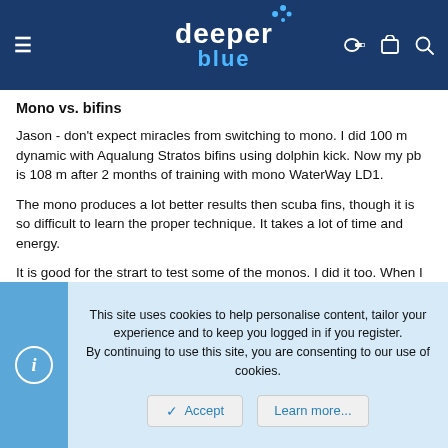deeper blue
Mono vs. bifins
Jason - don't expect miracles from switching to mono. I did 100 m dynamic with Aqualung Stratos bifins using dolphin kick. Now my pb is 108 m after 2 months of training with mono WaterWay LD1.
The mono produces a lot better results then scuba fins, though it is so difficult to learn the proper technique. It takes a lot of time and energy.
It is good for the strart to test some of the monos. I did it too. When I went for the first leg it was horrible. I was going all the ways but forward. The blade slips from one to the other side, you have to use your arms to get ballance again. It lasted over 3 weeks to learn how to move clearly forwards. Now after 2 months I'm trying to learn the finswimming technique. I think that every future monofiner should learn that technique.
This site uses cookies to help personalise content, tailor your experience and to keep you logged in if you register.
By continuing to use this site, you are consenting to our use of cookies.